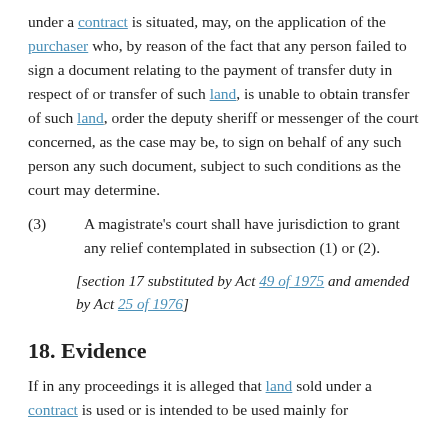under a contract is situated, may, on the application of the purchaser who, by reason of the fact that any person failed to sign a document relating to the payment of transfer duty in respect of or transfer of such land, is unable to obtain transfer of such land, order the deputy sheriff or messenger of the court concerned, as the case may be, to sign on behalf of any such person any such document, subject to such conditions as the court may determine.
(3)  A magistrate's court shall have jurisdiction to grant any relief contemplated in subsection (1) or (2).
[section 17 substituted by Act 49 of 1975 and amended by Act 25 of 1976]
18. Evidence
If in any proceedings it is alleged that land sold under a contract is used or is intended to be used mainly for